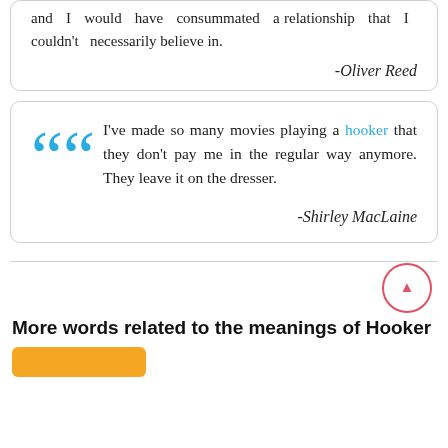and I would have consummated a relationship that I couldn't necessarily believe in.
-Oliver Reed
I've made so many movies playing a hooker that they don't pay me in the regular way anymore. They leave it on the dresser.
-Shirley MacLaine
More words related to the meanings of Hooker